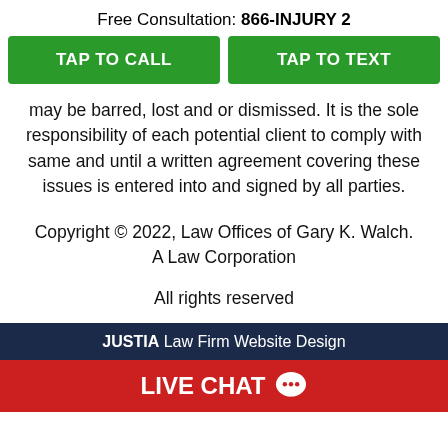Free Consultation: 866-INJURY 2
[Figure (other): Two green call-to-action buttons: TAP TO CALL and TAP TO TEXT]
may be barred, lost and or dismissed. It is the sole responsibility of each potential client to comply with same and until a written agreement covering these issues is entered into and signed by all parties.
Copyright © 2022, Law Offices of Gary K. Walch. A Law Corporation
All rights reserved
JUSTIA Law Firm Website Design
LIVE CHAT